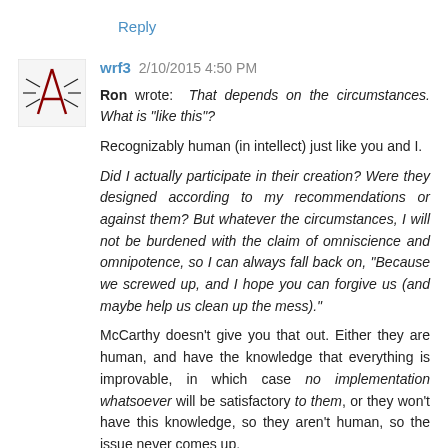Reply
wrf3  2/10/2015 4:50 PM
Ron wrote: That depends on the circumstances. What is "like this"?

Recognizably human (in intellect) just like you and I.

Did I actually participate in their creation? Were they designed according to my recommendations or against them? But whatever the circumstances, I will not be burdened with the claim of omniscience and omnipotence, so I can always fall back on, "Because we screwed up, and I hope you can forgive us (and maybe help us clean up the mess)."
McCarthy doesn't give you that out. Either they are human, and have the knowledge that everything is improvable, in which case no implementation whatsoever will be satisfactory to them, or they won't have this knowledge, so they aren't human, so the issue never comes up.